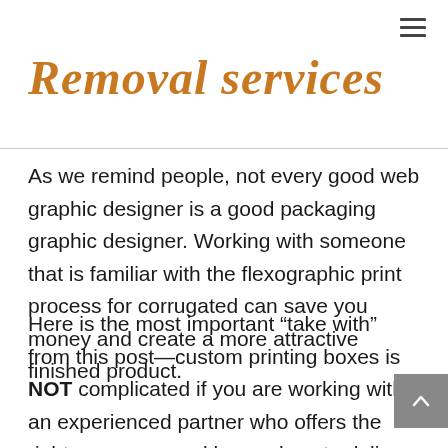Removal services
As we remind people, not every good web graphic designer is a good packaging graphic designer. Working with someone that is familiar with the flexographic print process for corrugated can save you money and create a more attractive finished product.
Here is the most important “take with” from this post—custom printing boxes is NOT complicated if you are working with an experienced partner who offers the right resources and knows how to deliver a great product at an affordable cost.